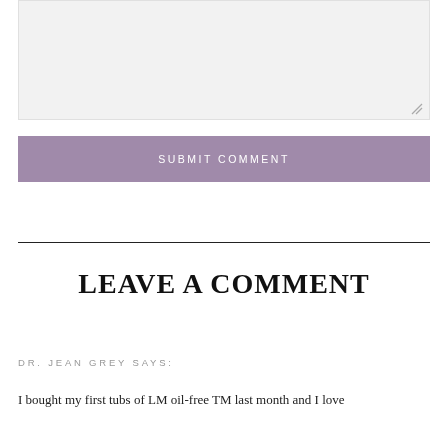[Figure (screenshot): A light grey textarea input box with a resize handle in the bottom right corner]
SUBMIT COMMENT
LEAVE A COMMENT
DR. JEAN GREY SAYS:
I bought my first tubs of LM oil-free TM last month and I love